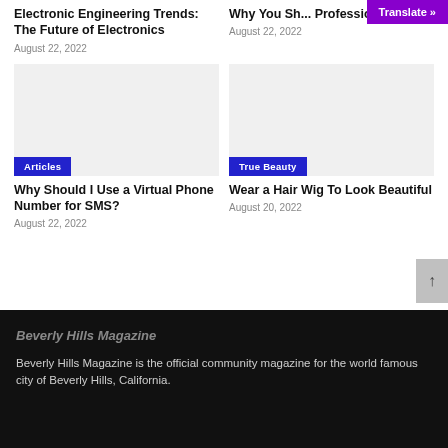Electronic Engineering Trends: The Future of Electronics
August 22, 2022
Why You Should Hire a Professional...
August 22, 2022
[Figure (photo): Image placeholder for Articles article]
Articles
[Figure (photo): Image placeholder for True Beauty article]
True Beauty
Why Should I Use a Virtual Phone Number for SMS?
August 22, 2022
Wear a Hair Wig To Look Beautiful
August 20, 2022
Beverly Hills Magazine
Beverly Hills Magazine is the official community magazine for the world famous city of Beverly Hills, California.